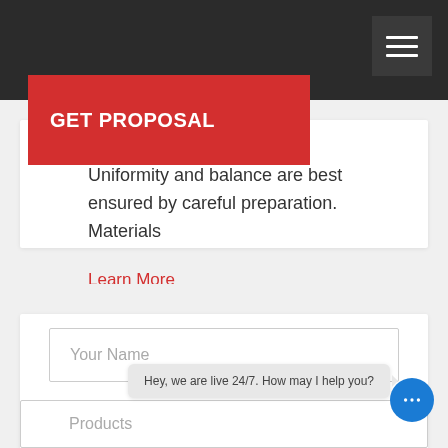[Figure (screenshot): Dark navigation bar with hamburger menu icon on the right]
GET PROPOSAL
to produce asphalt mixture Uniformity and balance are best ensured by careful preparation. Materials
Learn More
Your Name
Hey, we are live 24/7. How may I help you?
Products